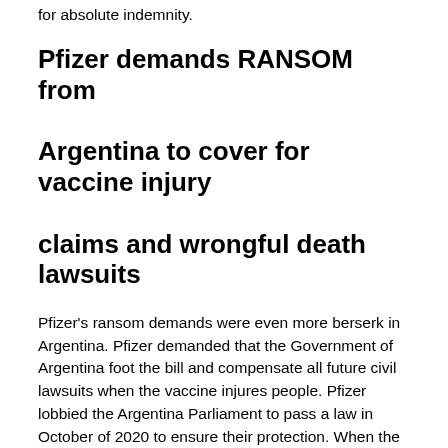for absolute indemnity.
Pfizer demands RANSOM from Argentina to cover for vaccine injury claims and wrongful death lawsuits
Pfizer's ransom demands were even more berserk in Argentina. Pfizer demanded that the Government of Argentina foot the bill and compensate all future civil lawsuits when the vaccine injures people. Pfizer lobbied the Argentina Parliament to pass a law in October of 2020 to ensure their protection. When the parliament wrote that Pfizer needed to pay for future negligence, Pfizer rejected the deal. The parliament ultimately acquiesced to Pfizer